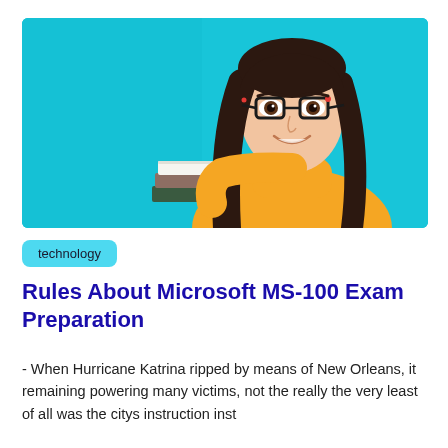[Figure (photo): Young woman with glasses and long dark hair, wearing a yellow turtleneck sweater, smiling and holding books, against a bright cyan/turquoise background.]
technology
Rules About Microsoft MS-100 Exam Preparation
- When Hurricane Katrina ripped by means of New Orleans, it remaining powering many victims, not the really the very least of all was the citys instruction inst